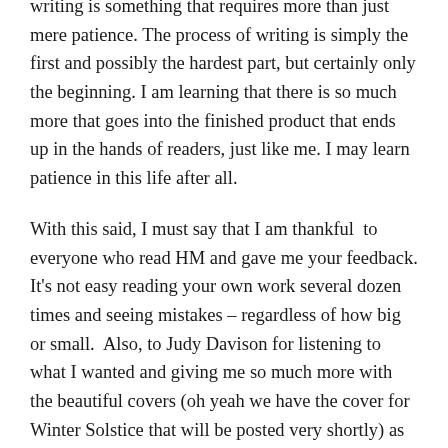writing is something that requires more than just mere patience. The process of writing is simply the first and possibly the hardest part, but certainly only the beginning. I am learning that there is so much more that goes into the finished product that ends up in the hands of readers, just like me. I may learn patience in this life after all.
With this said, I must say that I am thankful  to everyone who read HM and gave me your feedback. It's not easy reading your own work several dozen times and seeing mistakes – regardless of how big or small.  Also, to Judy Davison for listening to what I wanted and giving me so much more with the beautiful covers (oh yeah we have the cover for Winter Solstice that will be posted very shortly) as well as the fantastic logo! And Laura, well for everything I mentioned before… Thank you for all that you have already taught me, everything I am sure you will teach me and thank you for helping me make my first novel something